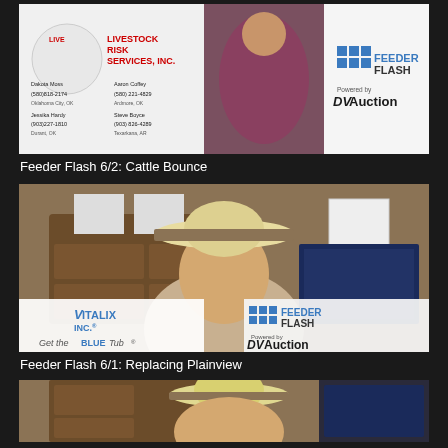[Figure (screenshot): Video thumbnail for Feeder Flash 6/2: Cattle Bounce. Shows two people in video call format with Livestock Risk Services Inc. logo on left and Feeder Flash Powered by DVAuction logo on right.]
Feeder Flash 6/2: Cattle Bounce
[Figure (screenshot): Video thumbnail for Feeder Flash 6/1: Replacing Plainview. Shows man wearing white cowboy hat in front of wooden dresser with photos. Vitalix Inc. 'Get the Blue Tub' logo on left and Feeder Flash Powered by DVAuction logo on right.]
Feeder Flash 6/1: Replacing Plainview
[Figure (screenshot): Partial video thumbnail at bottom of page, showing man in cowboy hat with similar background setting.]